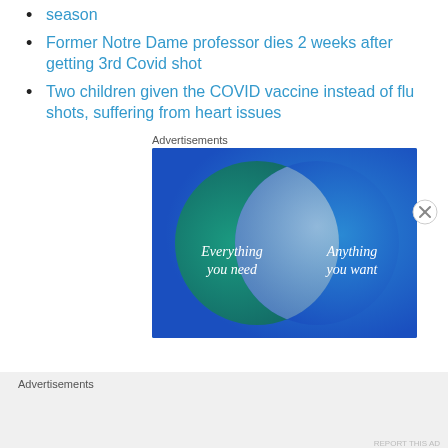season
Former Notre Dame professor dies 2 weeks after getting 3rd Covid shot
Two children given the COVID vaccine instead of flu shots, suffering from heart issues
Advertisements
[Figure (other): Advertisement image showing a Venn diagram with two overlapping circles on a teal and blue gradient background. Left circle labeled 'Everything you need', right circle labeled 'Anything you want'.]
Advertisements